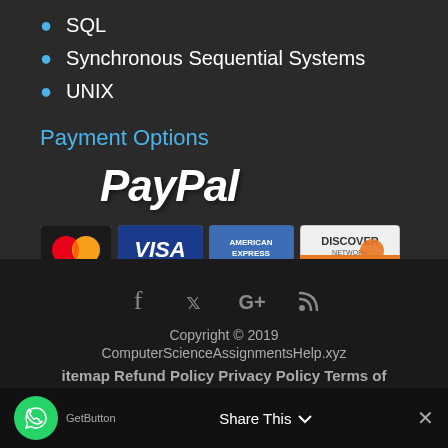SQL
Synchronous Sequential Systems
UNIX
Payment Options
[Figure (logo): PayPal logo in white bold italic text with credit card logos: MasterCard, VISA, American Express, Discover]
Copyright © 2019 ComputerScienceAssignmentsHelp.xyz  Sitemap Refund Policy Privacy Policy Terms of Service  Share This  ×